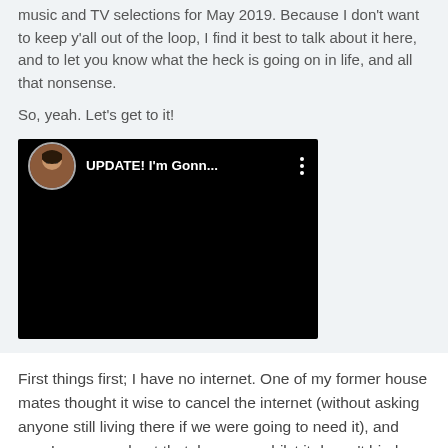music and TV selections for May 2019. Because I don't want to keep y'all out of the loop, I find it best to talk about it here, and to let you know what the heck is going on in life, and all that nonsense.
So, yeah. Let's get to it!
[Figure (screenshot): Embedded video player with black background showing a YouTube video thumbnail. Top bar shows a circular avatar of a person with dark hair and glasses, video title 'UPDATE! I'm Gonn...' and a three-dot menu icon.]
First things first; I have no internet. One of my former house mates thought it wise to cancel the internet (without asking anyone still living there if we were going to need it), and yes, I am sore about that, because whilst it doesn't hinder her in